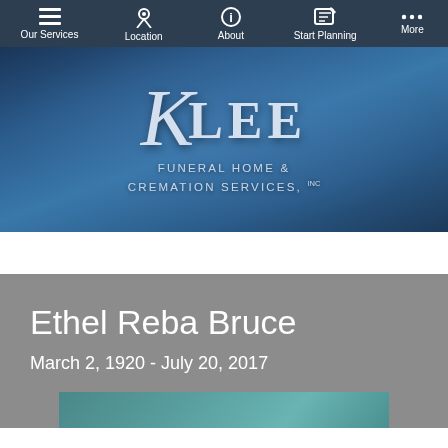Our Services | Location | About | Start Planning | More
[Figure (logo): Klee Funeral Home & Cremation Services, Inc. logo on blue textured background]
Ethel Reba Bruce
March 2, 1920 - July 20, 2017
[Figure (photo): Partial teal/green photo strip at bottom of obituary card]